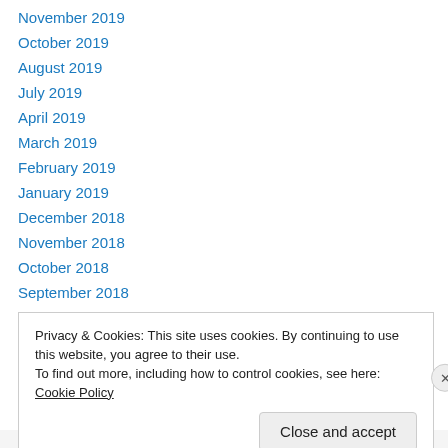November 2019
October 2019
August 2019
July 2019
April 2019
March 2019
February 2019
January 2019
December 2018
November 2018
October 2018
September 2018
August 2018
Privacy & Cookies: This site uses cookies. By continuing to use this website, you agree to their use. To find out more, including how to control cookies, see here: Cookie Policy
Close and accept